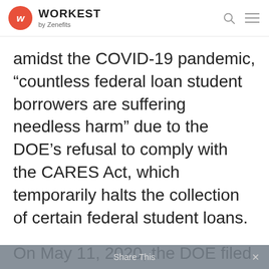WORKEST by Zenefits
amidst the COVID-19 pandemic, “countless federal loan student borrowers are suffering needless harm” due to the DOE’s refusal to comply with the CARES Act, which temporarily halts the collection of certain federal student loans.
On May 11, 2020, the DOE filed a status report with the court, revealing that a whopping 54,000 federal student loan borrowers are still subject to wage garnishment — despite the CARES Act’s
Share This ×